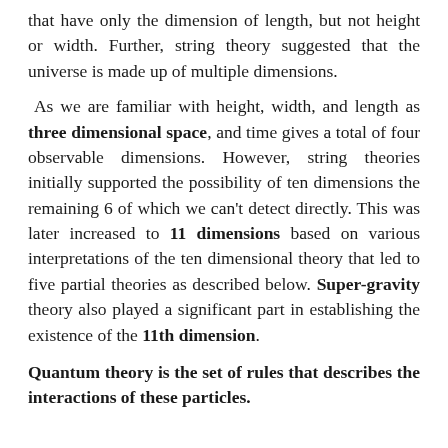that have only the dimension of length, but not height or width. Further, string theory suggested that the universe is made up of multiple dimensions.
As we are familiar with height, width, and length as three dimensional space, and time gives a total of four observable dimensions. However, string theories initially supported the possibility of ten dimensions the remaining 6 of which we can't detect directly. This was later increased to 11 dimensions based on various interpretations of the ten dimensional theory that led to five partial theories as described below. Super-gravity theory also played a significant part in establishing the existence of the 11th dimension.
Quantum theory is the set of rules that describes the interactions of these particles.